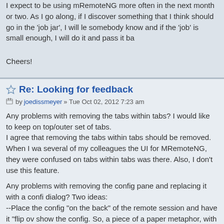I expect to be using mRemoteNG more often in the next month or two. As I go along, if I discover something that I think should go in the 'job jar', I will let somebody know and if the 'job' is small enough, I will do it and pass it back.
Cheers!
Re: Looking for feedback
by joedissmeyer » Tue Oct 02, 2012 7:23 am
Any problems with removing the tabs within tabs? I would like to keep on the top/outer set of tabs.
I agree that removing the tabs within tabs should be removed. When I was showing several of my colleagues the UI for MRemoteNG, they were confused on why tabs within tabs was there. Also, I don't use this feature.

Any problems with removing the config pane and replacing it with a config dialog? Two ideas:
--Place the config "on the back" of the remote session and have it "flip over" to show the config. So, a piece of a paper metaphor, with one side being the config and the other side the terminal or remote desktop.
--A separate dialog (like the new options dialog)
I actually currently like how the config pane exists. However, if you were to change anything I am more interested in seeing how the paper metaphor would look. I don't like the idea of a seperate config dialog box.